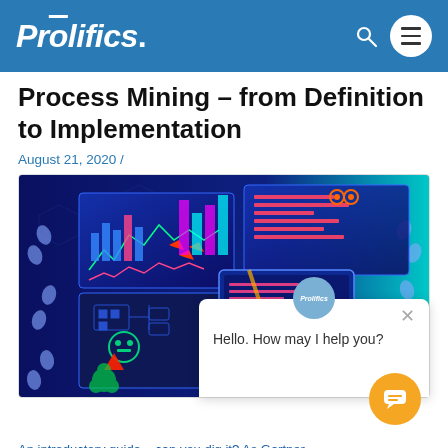Prolifics.
Process Mining – from Definition to Implementation
August 21, 2020 /
[Figure (screenshot): A futuristic data analytics / process mining illustration showing glowing dashboards, charts, and robotic figures on a dark blue background, with a chat popup overlay reading 'Hello. How may I help you?']
An introductory guide – can you dig it? As Gartner